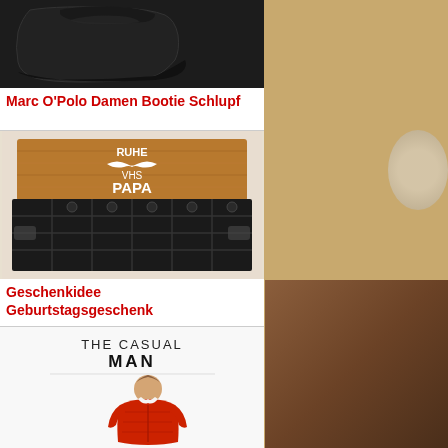[Figure (photo): Black leather ankle boot / bootie, close-up product photo on white/dark background]
Marc O'Polo Damen Bootie Schlupf
[Figure (photo): Beer crate / Bierkiste with wooden lid engraved with 'RUHE VHS PAPA' text and mustache graphic - a gift idea]
Geschenkidee Geburtstagsgeschenk
[Figure (photo): THE CASUAL MAN - man in red puffer jacket product photo]